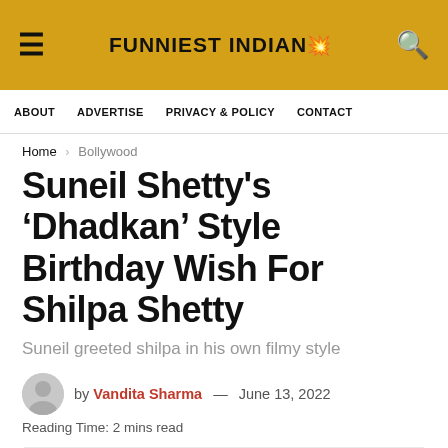FUNNIEST INDIANS
ABOUT  ADVERTISE  PRIVACY & POLICY  CONTACT
Home > Bollywood
Suneil Shetty's 'Dhadkan' Style Birthday Wish For Shilpa Shetty
Suneil greeted shilpa in his own filmy style
by Vandita Sharma — June 13, 2022
Reading Time: 2 mins read